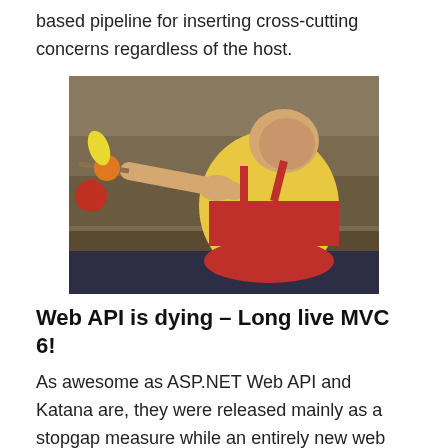based pipeline for inserting cross-cutting concerns regardless of the host.
[Figure (photo): A large man dressed in a yellow and red sumo-style costume swinging a stick or rod with fruit (banana, orange, apple) attached to it, outdoors near water and bare trees.]
Web API is dying – Long live MVC 6!
As awesome as ASP.NET Web API and Katana are, they were released mainly as a stopgap measure while an entirely new web platform was being built from the ground up. That platform is ASP.NET 5 with MVC 6, which